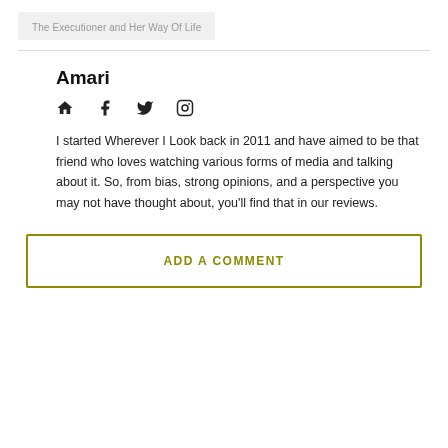The Executioner and Her Way Of Life
Amari
I started Wherever I Look back in 2011 and have aimed to be that friend who loves watching various forms of media and talking about it. So, from bias, strong opinions, and a perspective you may not have thought about, you'll find that in our reviews.
ADD A COMMENT